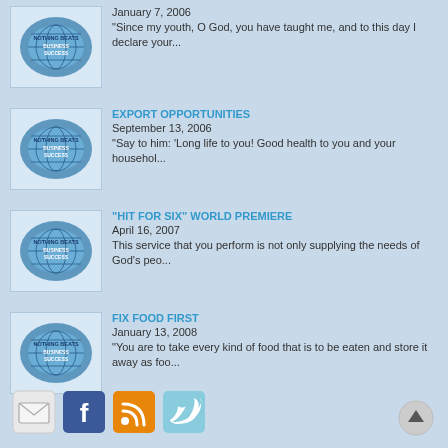[Figure (logo): Nothing Beats Business Success globe logo]
January 7, 2006
“Since my youth, O God, you have taught me, and to this day I declare your...
[Figure (logo): Nothing Beats Business Success globe logo]
EXPORT OPPORTUNITIES
September 13, 2006
“Say to him: ‘Long life to you! Good health to you and your househol...
[Figure (logo): Nothing Beats Business Success globe logo]
“HIT FOR SIX” WORLD PREMIERE
April 16, 2007
This service that you perform is not only supplying the needs of God’s peo...
[Figure (logo): Nothing Beats Business Success globe logo]
FIX FOOD FIRST
January 13, 2008
“You are to take every kind of food that is to be eaten and store it away as foo...
[Figure (infographic): Social media icons: email, Facebook, RSS, Twitter]